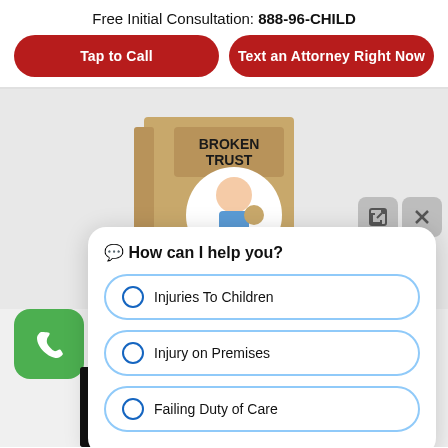Free Initial Consultation: 888-96-CHILD
Tap to Call
Text an Attorney Right Now
[Figure (photo): Book cover of 'Broken Trust' showing a cartoon child holding a stuffed animal]
Click Here for Broken Trust
Abuse, Neglect, Legal Rights of the Injured Child
[Figure (screenshot): Chat widget with options: How can I help you? with radio buttons for Injuries To Children, Injury on Premises, Failing Duty of Care]
[Figure (photo): Second book at the bottom of the page]